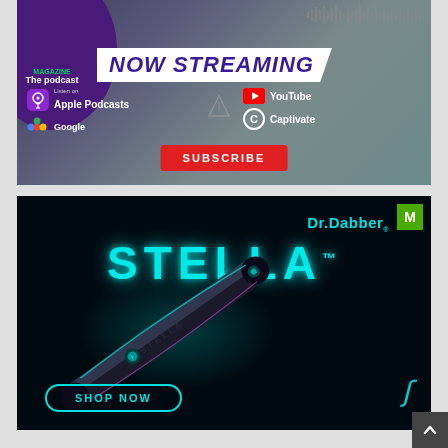[Figure (infographic): Podcast advertisement banner showing 'The podcast' text with 'NOW STREAMING' headline. Logos for Apple Podcasts, Google Podcasts, YouTube, and Captivate are shown, with a red SUBSCRIBE button.]
[Figure (infographic): Dr.Dabber STELLA vape pen advertisement on dark/black background. Shows the product (a sleek black pen device with teal glowing accents), brand name 'Dr.Dabber' and product name 'STELLA' in large teal text. 'SHOP NOW' button at bottom left, 'M' green logo at top right, and a teal swirl logo at bottom right.]